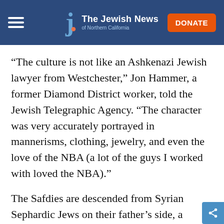The Jewish News of Northern California
“The culture is not like an Ashkenazi Jewish lawyer from Westchester,” Jon Hammer, a former Diamond District worker, told the Jewish Telegraphic Agency. “The character was very accurately portrayed in mannerisms, clothing, jewelry, and even the love of the NBA (a lot of the guys I worked with loved the NBA).”
The Safdies are descended from Syrian Sephardic Jews on their father’s side, a specific Jewish demographic that is well represented in the New York jewelry world, in the film and real life. They based the Howard character on both their own father and others in the Diamond District, where